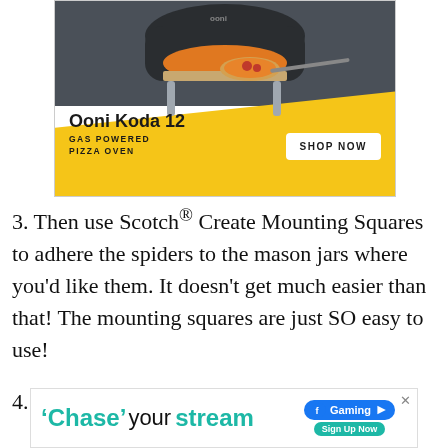[Figure (illustration): Ooni Koda 12 gas powered pizza oven advertisement. Dark grey and yellow background with pizza oven product image showing a pizza being inserted. Text reads 'Ooni Koda 12 GAS POWERED PIZZA OVEN' with a 'SHOP NOW' button.]
3. Then use Scotch® Create Mounting Squares to adhere the spiders to the mason jars where you’d like them. It doesn’t get much easier than that! The mounting squares are just SO easy to use!
4. Fill with candy and enjoy! EEK! ☺
[Figure (illustration): Chase your stream advertisement with Facebook Gaming badge and Sign Up Now button.]